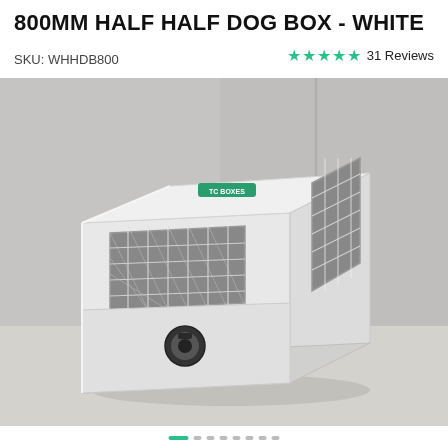800MM HALF HALF DOG BOX - WHITE
SKU: WHHDB800
★★★★★ 31 Reviews
[Figure (photo): White metal half half dog box with diamond mesh ventilation windows on front and side, black T-handle lock on lower front panel, green TC Boxes branding label on top, photographed on a concrete surface background.]
Carousel navigation dots